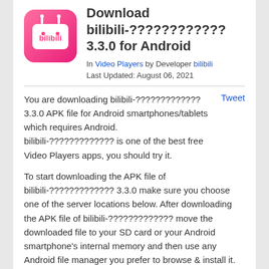Download bilibili-???????????? 3.3.0 for Android
In Video Players by Developer bilibili
Last Updated: August 06, 2021
You are downloading bilibili-????????????? 3.3.0 APK file for Android smartphones/tablets which requires Android. bilibili-????????????? is one of the best free Video Players apps, you should try it.
To start downloading the APK file of bilibili-????????????? 3.3.0 make sure you choose one of the server locations below. After downloading the APK file of bilibili-????????????? move the downloaded file to your SD card or your Android smartphone's internal memory and then use any Android file manager you prefer to browse & install it.